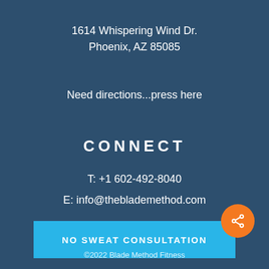1614 Whispering Wind Dr.
Phoenix, AZ 85085
Need directions...press here
CONNECT
T: +1 602-492-8040
E: info@theblademethod.com
NO SWEAT CONSULTATION
[Figure (other): Orange circular share button with share icon]
©2022 Blade Method Fitness